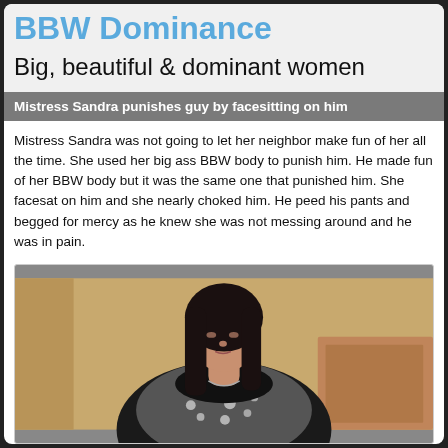BBW Dominance
Big, beautiful & dominant women
Mistress Sandra punishes guy by facesitting on him
Mistress Sandra was not going to let her neighbor make fun of her all the time. She used her big ass BBW body to punish him. He made fun of her BBW body but it was the same one that punished him. She facesat on him and she nearly choked him. He peed his pants and begged for mercy as he knew she was not messing around and he was in pain.
[Figure (photo): A woman with long dark hair wearing a black and white patterned top, looking downward, with a yellowish wall and brown furniture in the background.]